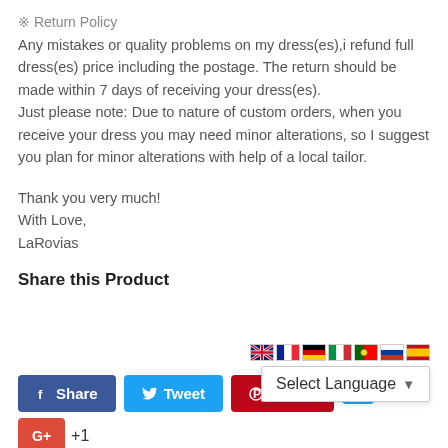※ Return Policy
Any mistakes or quality problems on my dress(es),i refund full dress(es) price including the postage. The return should be made within 7 days of receiving your dress(es).
Just please note: Due to nature of custom orders, when you receive your dress you may need minor alterations, so I suggest you plan for minor alterations with help of a local tailor.
Thank you very much!
With Love,
LaRovias
Share this Product
[Figure (screenshot): Language selector widget with country flags (UK, France, Germany, Italy, Portugal, Russia, Spain) and a 'Select Language' dropdown overlay]
[Figure (other): Social share buttons: Facebook Share, Tweet, Pinterest Pin, and a blue button; Google +1 button below]